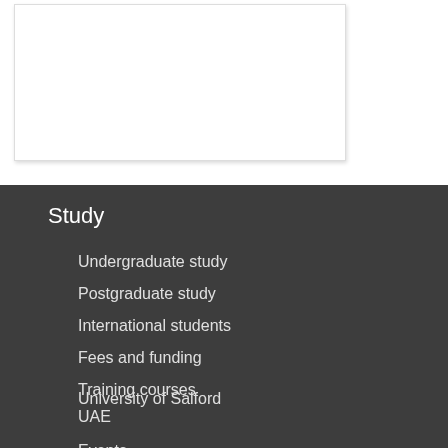Study
Undergraduate study
Postgraduate study
International students
Fees and funding
Training courses
About us
University of Salford UAE
Events
Life at Salford
Find us
Job opportunities
Contact us